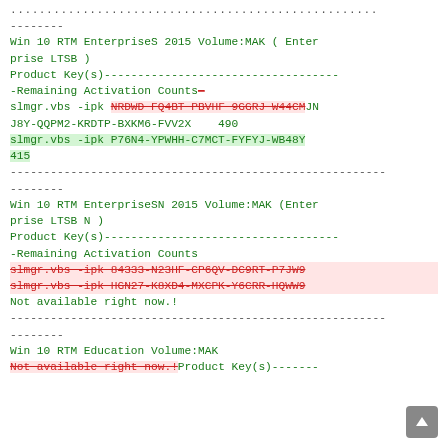...............................................
--------
Win 10 RTM EnterpriseS 2015 Volume:MAK ( Enterprise LTSB )
Product Key(s)-----------------------------------Remaining Activation Counts—
slmgr.vbs -ipk NRDWD-FQ4BT-PBVHF-9GGRJ-W44CM JNJ8Y-QQPM2-KRDTP-BXKM6-FVV2X    490
slmgr.vbs -ipk P76N4-YPWHH-C7MCT-FYFYJ-WB48Y  415
--------------------------------------------------------
--------
Win 10 RTM EnterpriseSN 2015 Volume:MAK (Enterprise LTSB N )
Product Key(s)-----------------------------------Remaining Activation Counts
slmgr.vbs -ipk 84333-N23HF-CP6QV-DC9RT-P7JW9
slmgr.vbs -ipk HGN27-K8XD4-MXCPK-Y6CRR-HQWW9
Not available right now.!
--------------------------------------------------------
--------
Win 10 RTM Education Volume:MAK
Not available right now.! Product Key(s)-------